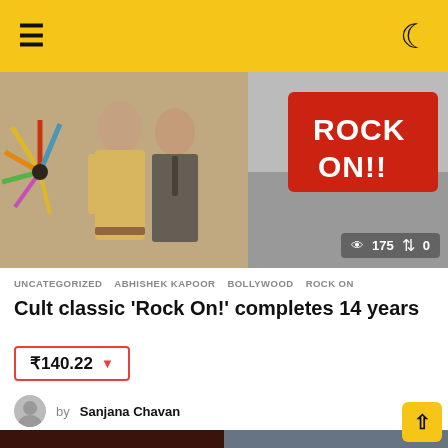≡  ☾
[Figure (photo): Hero image collage: left side shows two people in traditional/formal attire, right side shows a 'Rock On!!' movie poster/banner. Stats overlay showing 175 views and 0 shares.]
UNCATEGORIZED  ABHISHEK KAPOOR  BOLLYWOOD  ROCK ON
Cult classic 'Rock On!' completes 14 years
₹140.22 ▼
by Sanjana Chavan
[Figure (photo): Bottom photo showing people in a dimly lit bar/party scene on the left and a man in a white shirt on the right (split image).]